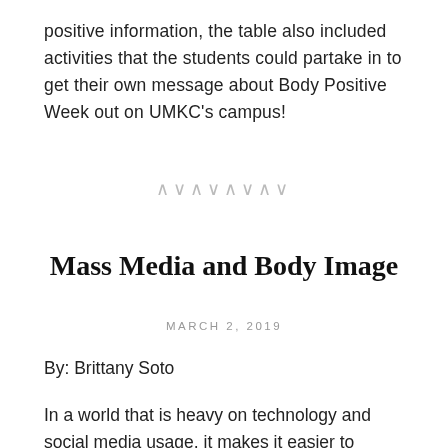positive information, the table also included activities that the students could partake in to get their own message about Body Positive Week out on UMKC’s campus!
[Figure (other): Decorative zigzag chevron divider symbol: ∧∨∧∨∧∨∧∨]
Mass Media and Body Image
MARCH 2, 2019
By: Brittany Soto
In a world that is heavy on technology and social media usage, it makes it easier to communicate and